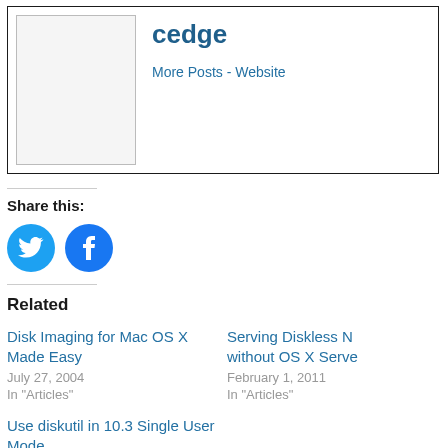[Figure (photo): Author photo placeholder box (empty, with border)]
cedge
More Posts - Website
Share this:
[Figure (illustration): Twitter share button (blue circle with bird icon) and Facebook share button (blue circle with f icon)]
Related
Disk Imaging for Mac OS X Made Easy
July 27, 2004
In "Articles"
Serving Diskless N... without OS X Serve...
February 1, 2011
In "Articles"
Use diskutil in 10.3 Single User Mode
August 4, 2004